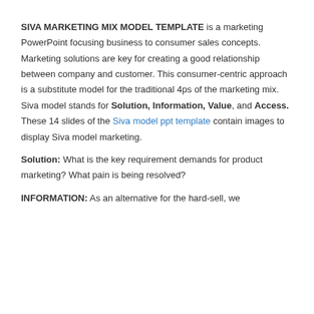SIVA MARKETING MIX MODEL TEMPLATE is a marketing PowerPoint focusing business to consumer sales concepts. Marketing solutions are key for creating a good relationship between company and customer. This consumer-centric approach is a substitute model for the traditional 4ps of the marketing mix. Siva model stands for Solution, Information, Value, and Access. These 14 slides of the Siva model ppt template contain images to display Siva model marketing.
Solution: What is the key requirement demands for product marketing? What pain is being resolved?
INFORMATION: As an alternative for the hard-sell, we...